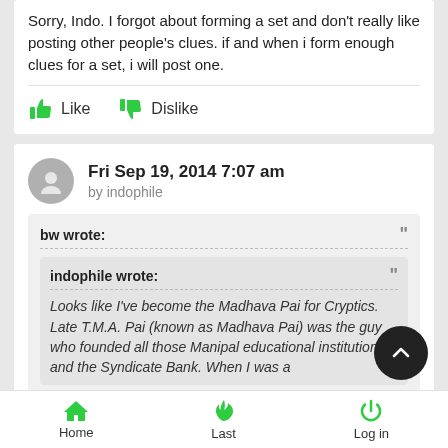Sorry, Indo. I forgot about forming a set and don't really like posting other people's clues. if and when i form enough clues for a set, i will post one.
Like   Dislike
Fri Sep 19, 2014 7:07 am
by indophile
bw wrote:
indophile wrote:
Looks like I've become the Madhava Pai for Cryptics. Late T.M.A. Pai (known as Madhava Pai) was the guy who founded all those Manipal educational institutions and the Syndicate Bank. When I was a
Home   Last   Log in